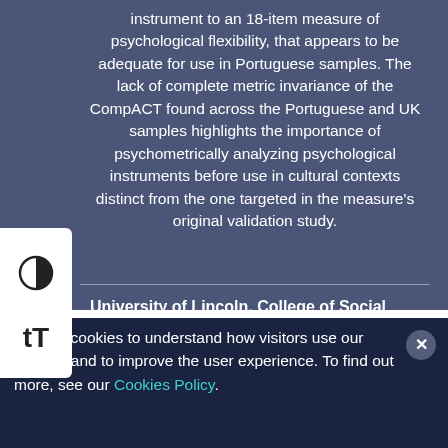instrument to an 18-item measure of psychological flexibility, that appears to be adequate for use in Portuguese samples. The lack of complete metric invariance of the CompACT found across the Portuguese and UK samples highlights the importance of psychometrically analyzing psychological instruments before use in cultural contexts distinct from the one targeted in the measure's original validation study.
University of Lincoln, College of Social
We use cookies to understand how visitors use our website and to improve the user experience. To find out more, see our Cookies Policy.